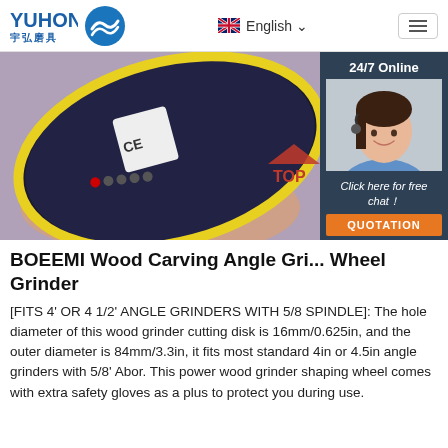YUHONG 宇弘磨具 — English
[Figure (photo): Close-up photo of a person holding a black circular grinding/cutting disc with yellow edge markings. To the right: a customer service representative wearing a headset, overlaid on a dark blue '24/7 Online' panel with 'Click here for free chat!' and an orange QUOTATION button.]
BOEEMI Wood Carving Angle Gri... Wheel Grinder
[FITS 4' OR 4 1/2' ANGLE GRINDERS WITH 5/8 SPINDLE]: The hole diameter of this wood grinder cutting disk is 16mm/0.625in, and the outer diameter is 84mm/3.3in, it fits most standard 4in or 4.5in angle grinders with 5/8' Abor. This power wood grinder shaping wheel comes with extra safety gloves as a plus to protect you during use.